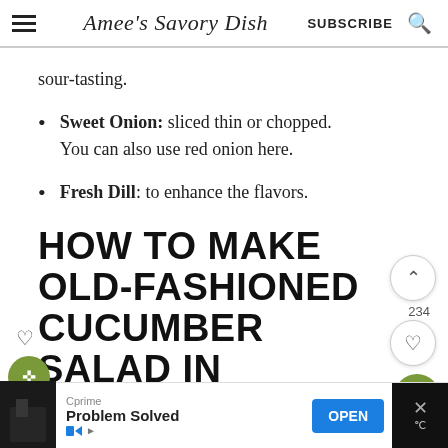Amee's Savory Dish  SUBSCRIBE
sour-tasting.
Sweet Onion: sliced thin or chopped. You can also use red onion here.
Fresh Dill: to enhance the flavors.
HOW TO MAKE OLD-FASHIONED CUCUMBER SALAD IN
Cprime Problem Solved OPEN